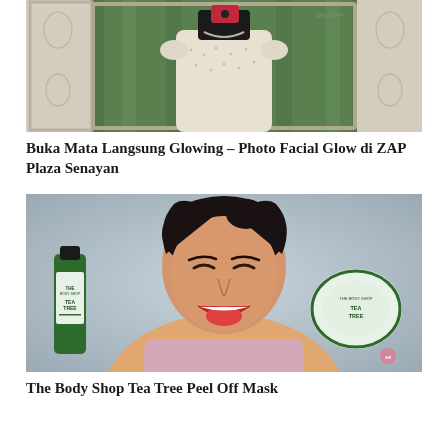[Figure (photo): Mirror selfie of a woman wearing a white dotted dress, standing in front of green curtains, holding a phone camera. Decorative mirror frame with floral motifs.]
Buka Mata Langsung Glowing – Photo Facial Glow di ZAP Plaza Senayan
[Figure (photo): A smiling woman sticking out her tongue, holding The Body Shop Tea Tree products — a green bottle on the left and a round jar on the right. Light blue-grey background.]
The Body Shop Tea Tree Peel Off Mask